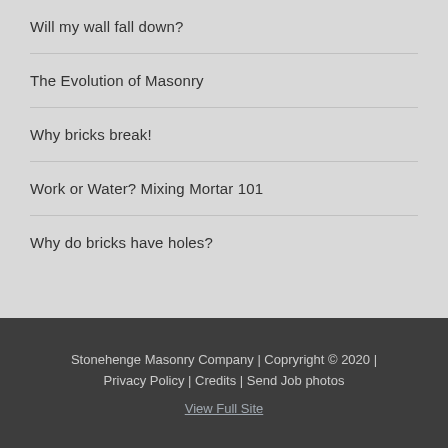Will my wall fall down?
The Evolution of Masonry
Why bricks break!
Work or Water? Mixing Mortar 101
Why do bricks have holes?
Stonehenge Masonry Company | Copryright © 2020 | Privacy Policy | Credits | Send Job photos
View Full Site